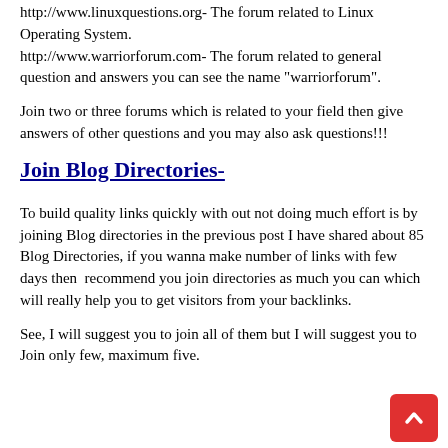http://www.linuxquestions.org- The forum related to Linux Operating System.
http://www.warriorforum.com- The forum related to general question and answers you can see the name "warriorforum".
Join two or three forums which is related to your field then give answers of other questions and you may also ask questions!!!
Join Blog Directories-
To build quality links quickly with out not doing much effort is by joining Blog directories in the previous post I have shared about 85 Blog Directories, if you wanna make number of links with few days then  recommend you join directories as much you can which will really help you to get visitors from your backlinks.
See, I will suggest you to join all of them but I will suggest you to Join only few, maximum five.